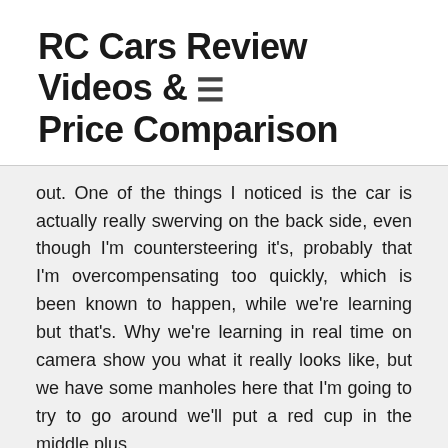RC Cars Review Videos & Price Comparison
out. One of the things I noticed is the car is actually really swerving on the back side, even though I'm countersteering it's, probably that I'm overcompensating too quickly, which is been known to happen, while we're learning but that's. Why we're learning in real time on camera show you what it really looks like, but we have some manholes here that I'm going to try to go around we'll put a red cup in the middle plus.
We have some cars every few minutes, which makes it more of a challenge. So let's try to use a manhole one red cup in the middle OOP. You can actually see the manhole is raised a little bit which will make it more of a challenge, but still